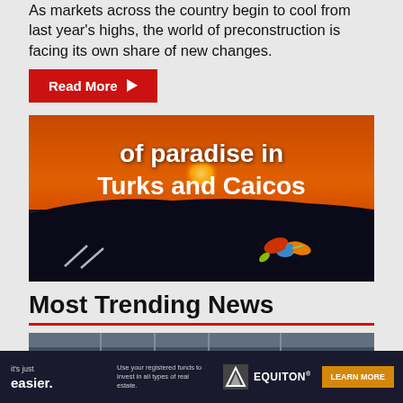As markets across the country begin to cool from last year's highs, the world of preconstruction is facing its own share of new changes.
Read More ▶
[Figure (photo): Sunset photo with orange sky and silhouetted hills over water, overlaid with text 'of paradise in Turks and Caicos' and a hummingbird logo]
Most Trending News
[Figure (photo): Banner advertisement: 'it's just easier. Use your registered funds to invest in all types of real estate. EQUITON® LEARN MORE']